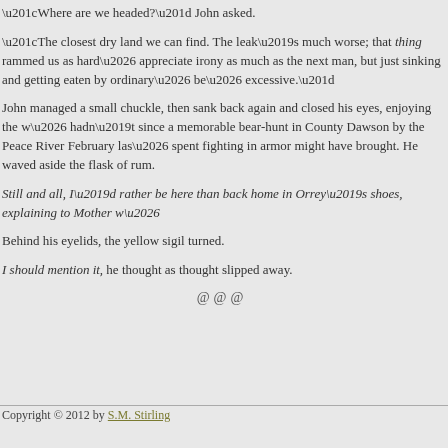“Where are we headed?” John asked.
“The closest dry land we can find. The leak’s much worse; that thing rammed us as hard… appreciate irony as much as the next man, but just sinking and getting eaten by ordinary… be… excessive.”
John managed a small chuckle, then sank back again and closed his eyes, enjoying the w… hadn’t since a memorable bear-hunt in County Dawson by the Peace River February las… spent fighting in armor might have brought. He waved aside the flask of rum.
Still and all, I’d rather be here than back home in Orrey’s shoes, explaining to Mother w…
Behind his eyelids, the yellow sigil turned.
I should mention it, he thought as thought slipped away.
@@@
Copyright © 2012 by S.M. Stirling